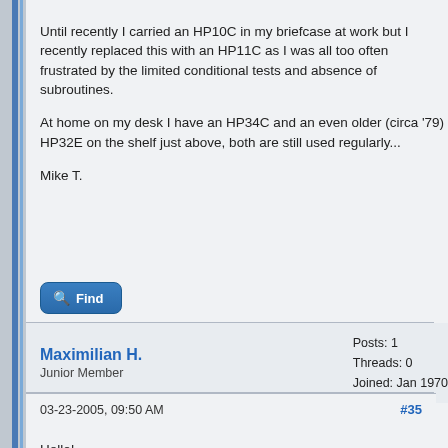Until recently I carried an HP10C in my briefcase at work but I recently replaced this with an HP11C as I was all too often frustrated by the limited conditional tests and absence of subroutines.
At home on my desk I have an HP34C and an even older (circa '79) HP32E on the shelf just above, both are still used regularly...
Mike T.
Find
Maximilian H.
Junior Member
Posts: 1
Threads: 0
Joined: Jan 1970
03-23-2005, 09:50 AM
#35
Hello!
My first post here, I think ... although I have been reading